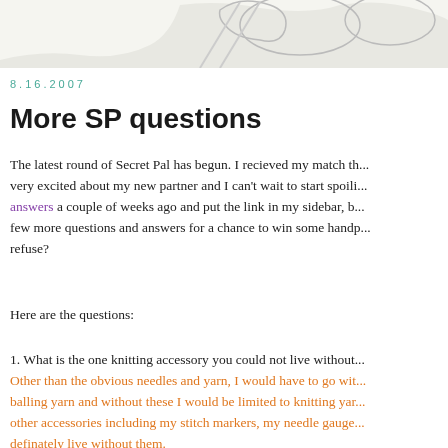[Figure (illustration): Partial sketch/line drawing illustration visible at top of page, cropped]
8.16.2007
More SP questions
The latest round of Secret Pal has begun. I recieved my match th... very excited about my new partner and I can't wait to start spoili... answers a couple of weeks ago and put the link in my sidebar, b... few more questions and answers for a chance to win some handp... refuse?
Here are the questions:
1. What is the one knitting accessory you could not live without... Other than the obvious needles and yarn, I would have to go wit... balling yarn and without these I would be limited to knitting yar... other accessories including my stitch markers, my needle gauge... definately live without them.